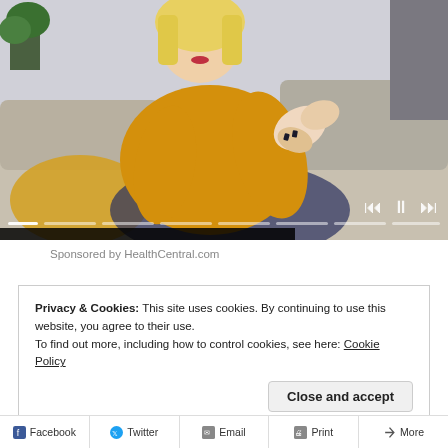[Figure (screenshot): Video player showing a woman in a yellow sweater sitting on a couch, scratching her elbow. Video controls (skip back, pause, skip forward) visible at bottom right. Progress bar segments at the bottom. Title overlay reads 'How Stress Affects Psoriasis'.]
Sponsored by HealthCentral.com
Privacy & Cookies: This site uses cookies. By continuing to use this website, you agree to their use.
To find out more, including how to control cookies, see here: Cookie Policy
Close and accept
Facebook  Twitter  Email  Print  More